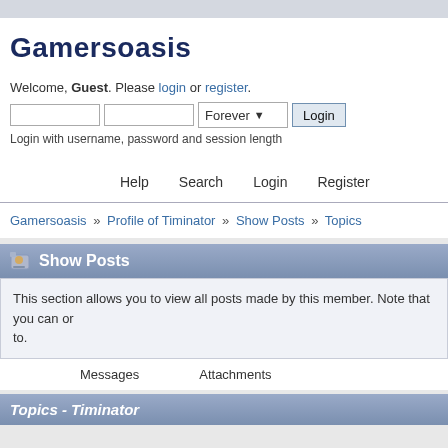Gamersoasis
Welcome, Guest. Please login or register.
Login with username, password and session length
Help   Search   Login   Register
Gamersoasis » Profile of Timinator » Show Posts » Topics
Show Posts
This section allows you to view all posts made by this member. Note that you can only see posts made in areas you currently have access to.
Messages    Attachments
Topics - Timinator